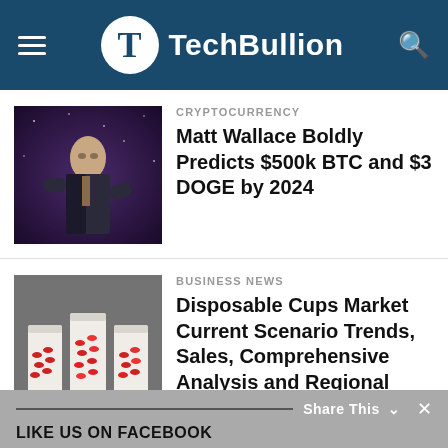TechBullion
CRYPTOCURRENCY
Matt Wallace Boldly Predicts $500k BTC and $3 DOGE by 2024
BUSINESS NEWS
Disposable Cups Market Current Scenario Trends, Sales, Comprehensive Analysis and Regional Forecast to 2030
CRYPTOCURRENCY
Is It Too Late For Crypto?
Share This   LIKE US ON FACEBOOK